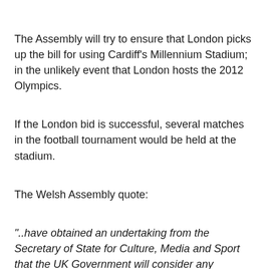The Assembly will try to ensure that London picks up the bill for using Cardiff's Millennium Stadium; in the unlikely event that London hosts the 2012 Olympics.
If the London bid is successful, several matches in the football tournament would be held at the stadium.
The Welsh Assembly quote:
"..have obtained an undertaking from the Secretary of State for Culture, Media and Sport that the UK Government will consider any extraordinary costs that might in principle fall to us in relation to hosting the events at the Millennium